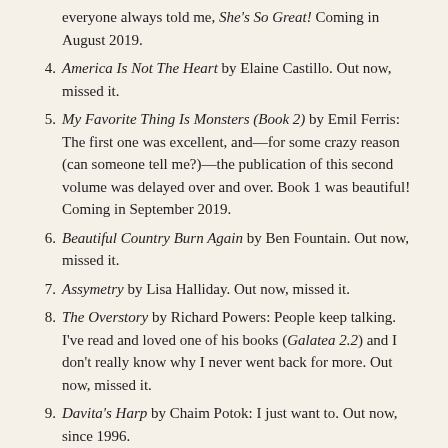everyone always told me, She's So Great! Coming in August 2019.
4. America Is Not The Heart by Elaine Castillo. Out now, missed it.
5. My Favorite Thing Is Monsters (Book 2) by Emil Ferris: The first one was excellent, and—for some crazy reason (can someone tell me?)—the publication of this second volume was delayed over and over. Book 1 was beautiful! Coming in September 2019.
6. Beautiful Country Burn Again by Ben Fountain. Out now, missed it.
7. Assymetry by Lisa Halliday. Out now, missed it.
8. The Overstory by Richard Powers: People keep talking. I've read and loved one of his books (Galatea 2.2) and I don't really know why I never went back for more. Out now, missed it.
9. Davita's Harp by Chaim Potok: I just want to. Out now, since 1996.
10. Shelf Life of Happiness by Virginia Pye. I have a real affection for Pye and her rich prose. I had to get an autographed copy. I'm going in. Out now, missed it. Knew